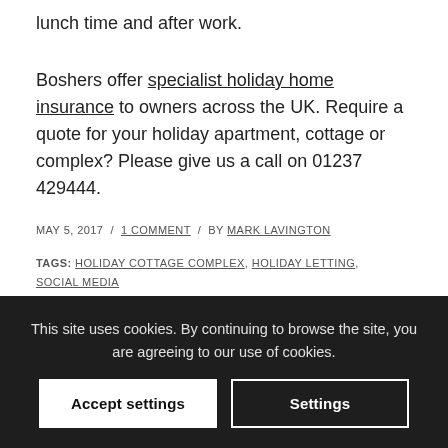lunch time and after work.
Boshers offer specialist holiday home insurance to owners across the UK. Require a quote for your holiday apartment, cottage or complex? Please give us a call on 01237 429444.
MAY 5, 2017 / 1 COMMENT / BY MARK LAVINGTON
TAGS: HOLIDAY COTTAGE COMPLEX, HOLIDAY LETTING, SOCIAL MEDIA
Share this entry
This site uses cookies. By continuing to browse the site, you are agreeing to our use of cookies.